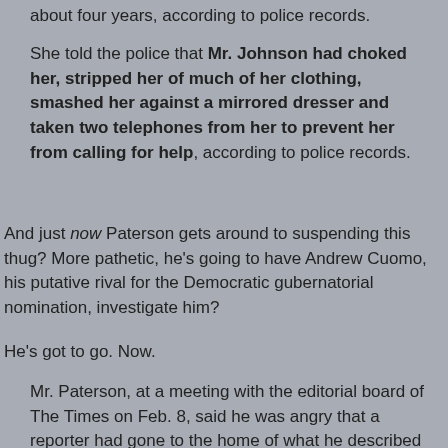about four years, according to police records.
She told the police that Mr. Johnson had choked her, stripped her of much of her clothing, smashed her against a mirrored dresser and taken two telephones from her to prevent her from calling for help, according to police records.
And just now Paterson gets around to suspending this thug? More pathetic, he's going to have Andrew Cuomo, his putative rival for the Democratic gubernatorial nomination, investigate him?
He's got to go. Now.
Mr. Paterson, at a meeting with the editorial board of The Times on Feb. 8, said he was angry that a reporter had gone to the home of what he described as “an ex-girlfriend” of an aide. He suggested that the reporter’s real purpose had been to dig up damaging information about him.